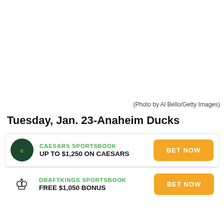[Figure (photo): White/blank photo area at top of page]
(Photo by Al Bello/Getty Images)
Tuesday, Jan. 23-Anaheim Ducks
CAESARS SPORTSBOOK
UP TO $1,250 ON CAESARS
BET NOW
DRAFTKINGS SPORTSBOOK
FREE $1,050 BONUS
BET NOW